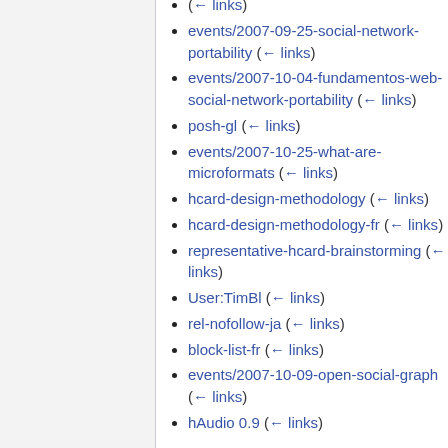( ← links)
events/2007-09-25-social-network-portability  ( ← links)
events/2007-10-04-fundamentos-web-social-network-portability  ( ← links)
posh-gl  ( ← links)
events/2007-10-25-what-are-microformats  ( ← links)
hcard-design-methodology  ( ← links)
hcard-design-methodology-fr  ( ← links)
representative-hcard-brainstorming  ( ← links)
User:TimBl  ( ← links)
rel-nofollow-ja  ( ← links)
block-list-fr  ( ← links)
events/2007-10-09-open-social-graph  ( ← links)
hAudio 0.9  ( ← links)